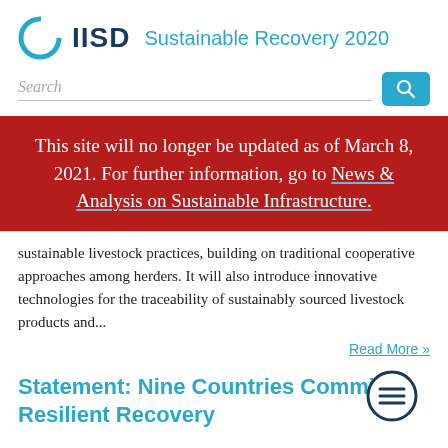IISD Sustainable Recovery 2020
Search
This site will no longer be updated as of March 8, 2021. For further information, go to News & Analysis on Sustainable Infrastructure.
sustainable livestock practices, building on traditional cooperative approaches among herders. It will also introduce innovative technologies for the traceability of sustainably sourced livestock products and...
Read More »
Statement: Nine Countries Commit Resilient Recovery